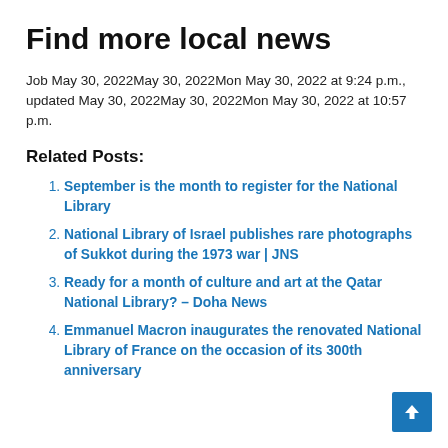Find more local news
Job May 30, 2022May 30, 2022Mon May 30, 2022 at 9:24 p.m., updated May 30, 2022May 30, 2022Mon May 30, 2022 at 10:57 p.m.
Related Posts:
September is the month to register for the National Library
National Library of Israel publishes rare photographs of Sukkot during the 1973 war | JNS
Ready for a month of culture and art at the Qatar National Library? – Doha News
Emmanuel Macron inaugurates the renovated National Library of France on the occasion of its 300th anniversary